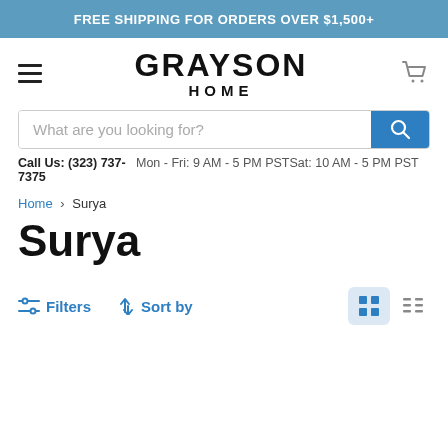FREE SHIPPING FOR ORDERS OVER $1,500+
[Figure (logo): Grayson Home logo with hamburger menu and cart icon]
What are you looking for?
Call Us: (323) 737-7375    Mon - Fri: 9 AM - 5 PM PSTSat: 10 AM - 5 PM PST
Home > Surya
Surya
Filters    Sort by